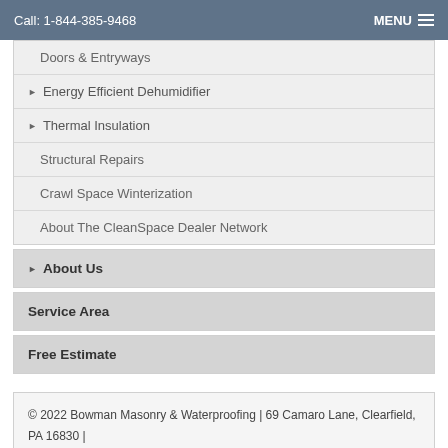Call: 1-844-385-9468   MENU
Doors & Entryways
▶ Energy Efficient Dehumidifier
▶ Thermal Insulation
Structural Repairs
Crawl Space Winterization
About The CleanSpace Dealer Network
▶ About Us
Service Area
Free Estimate
© 2022 Bowman Masonry & Waterproofing | 69 Camaro Lane, Clearfield, PA 16830 | 1-844-385-9468
1-814-409-7272 | View Full Site